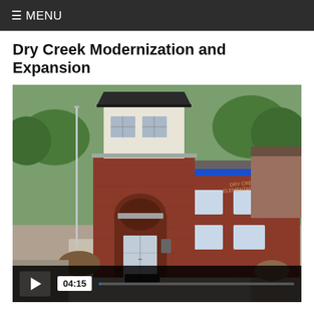≡ MENU
Dry Creek Modernization and Expansion
[Figure (photo): Aerial view of Dry Creek Elementary School showing a modernized brick building entrance with arched entry, glass doors, second-floor addition with dark metal roof, blue accent stripe on adjacent wing, and landscaped grounds. A video player overlay shows play button and timestamp 04:15.]